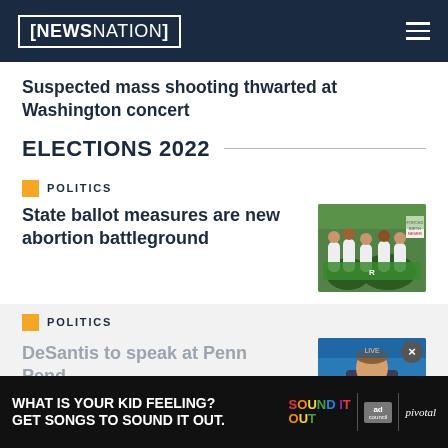NewsNation
Suspected mass shooting thwarted at Washington concert
ELECTIONS 2022
POLITICS
State ballot measures are new abortion battleground
[Figure (photo): Abortion rights protesters marching in white with green banner]
POLITICS
DeSantis to speak at Penn...Pend...
[Figure (photo): Man speaking on stage, video thumbnail with X close button]
[Figure (other): Ad banner: WHAT IS YOUR KID FEELING? GET SONGS TO SOUND IT OUT. Sound It Out, ad council, pivotal logos]